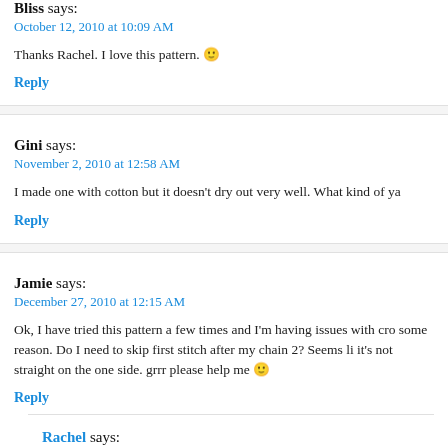Bliss says:
October 12, 2010 at 10:09 AM
Thanks Rachel. I love this pattern. 🙂
Reply
Gini says:
November 2, 2010 at 12:58 AM
I made one with cotton but it doesn't dry out very well. What kind of ya
Reply
Jamie says:
December 27, 2010 at 12:15 AM
Ok, I have tried this pattern a few times and I'm having issues with cro some reason. Do I need to skip first stitch after my chain 2? Seems li it's not straight on the one side. grrr please help me 🙂
Reply
Rachel says: